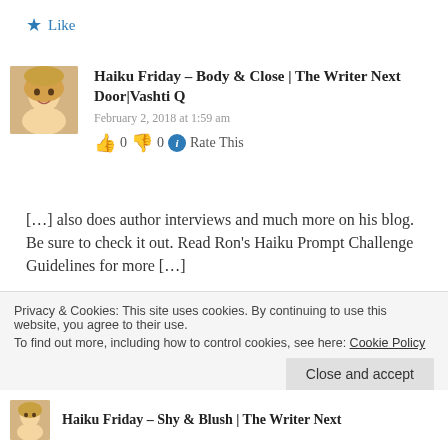★ Like
Haiku Friday – Body & Close | The Writer Next Door|Vashti Q
February 2, 2018 at 1:59 am
👍 0 👎 0 ℹ Rate This
[…] also does author interviews and much more on his blog. Be sure to check it out. Read Ron's Haiku Prompt Challenge Guidelines for more […]
Privacy & Cookies: This site uses cookies. By continuing to use this website, you agree to their use. To find out more, including how to control cookies, see here: Cookie Policy
Close and accept
Haiku Friday – Shy & Blush | The Writer Next